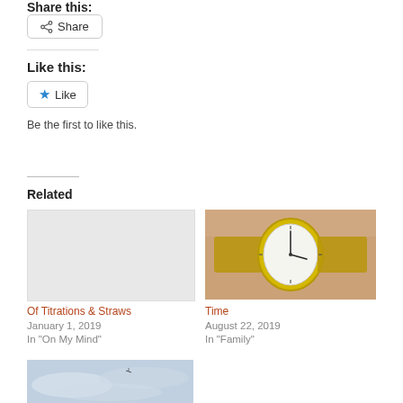Share this:
Share
Like this:
Like
Be the first to like this.
Related
[Figure (photo): Blog post thumbnail (no image, blank)]
Of Titrations & Straws
January 1, 2019
In "On My Mind"
[Figure (photo): Photo of a wristwatch on a wrist — gold-toned analog watch with white face]
Time
August 22, 2019
In "Family"
[Figure (photo): Photo of a cloudy sky, light blue-grey tones, small dark speck (bird or plane) visible]